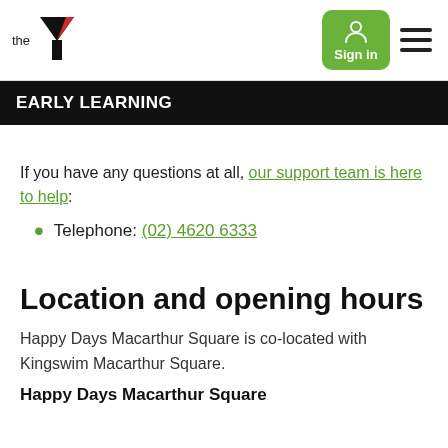[Figure (logo): YMCA 'the Y' logo with black Y shape and red triangle accent, plus green Sign in button and hamburger menu icon]
EARLY LEARNING
If you have any questions at all, our support team is here to help:
Telephone: (02) 4620 6333
Location and opening hours
Happy Days Macarthur Square is co-located with Kingswim Macarthur Square.
Happy Days Macarthur Square